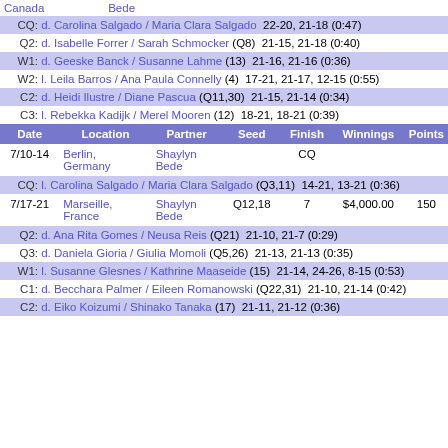| Date | Location | Partner | Seed | Finish | Winnings | Points |
| --- | --- | --- | --- | --- | --- | --- |
|  | Canada | Bede |  |  |  |  |
| CQ: | d. Carolina Salgado / Maria Clara Salgado | 22-20, 21-18 (0:47) |  |  |  |  |
| Q2: | d. Isabelle Forrer / Sarah Schmocker (Q8) | 21-15, 21-18 (0:40) |  |  |  |  |
| W1: | d. Geeske Banck / Susanne Lahme (13) | 21-16, 21-16 (0:36) |  |  |  |  |
| W2: | l. Leila Barros / Ana Paula Connelly (4) | 17-21, 21-17, 12-15 (0:55) |  |  |  |  |
| C2: | d. Heidi Ilustre / Diane Pascua (Q11,30) | 21-15, 21-14 (0:34) |  |  |  |  |
| C3: | l. Rebekka Kadijk / Merel Mooren (12) | 18-21, 18-21 (0:39) |  |  |  |  |
| 7/10-14 | Berlin, Germany | Shaylyn Bede |  | CQ |  |  |
| CQ: | l. Carolina Salgado / Maria Clara Salgado (Q3,11) | 14-21, 13-21 (0:36) |  |  |  |  |
| 7/17-21 | Marseille, France | Shaylyn Bede | Q12,18 | 7 | $4,000.00 | 150 |
| Q2: | d. Ana Rita Gomes / Neusa Reis (Q21) | 21-10, 21-7 (0:29) |  |  |  |  |
| Q3: | d. Daniela Gioria / Giulia Momoli (Q5,26) | 21-13, 21-13 (0:35) |  |  |  |  |
| W1: | l. Susanne Glesnes / Kathrine Maaseide (15) | 21-14, 24-26, 8-15 (0:53) |  |  |  |  |
| C1: | d. Becchara Palmer / Eileen Romanowski (Q22,31) | 21-10, 21-14 (0:42) |  |  |  |  |
| C2: | d. Eiko Koizumi / Shinako Tanaka (17) | 21-11, 21-12 (0:36) |  |  |  |  |